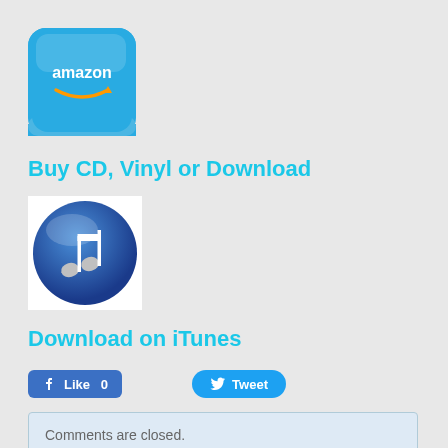[Figure (logo): Amazon app icon — blue rounded square with 'amazon' text and orange smile arrow]
Buy CD, Vinyl or Download
[Figure (logo): iTunes music note icon — blue metallic circle with white musical notes]
Download on iTunes
[Figure (other): Social sharing buttons: Facebook Like button showing count 0, and Twitter Tweet button]
Comments are closed.
Enjoy Our Daily Lyric's: